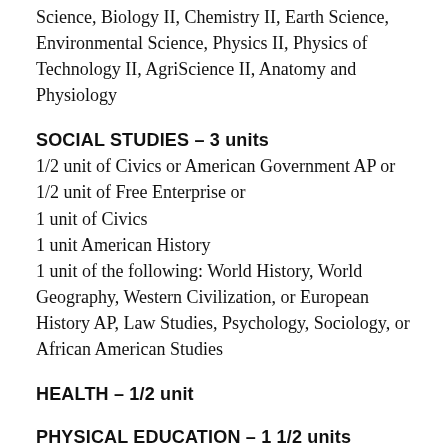Science, Biology II, Chemistry II, Earth Science, Environmental Science, Physics II, Physics of Technology II, AgriScience II, Anatomy and Physiology
SOCIAL STUDIES – 3 units
1/2 unit of Civics or American Government AP or
1/2 unit of Free Enterprise or
1 unit of Civics
1 unit American History
1 unit of the following: World History, World Geography, Western Civilization, or European History AP, Law Studies, Psychology, Sociology, or African American Studies
HEALTH – 1/2 unit
PHYSICAL EDUCATION – 1 1/2 units
FOREIGN LANGUAGE – 2 units